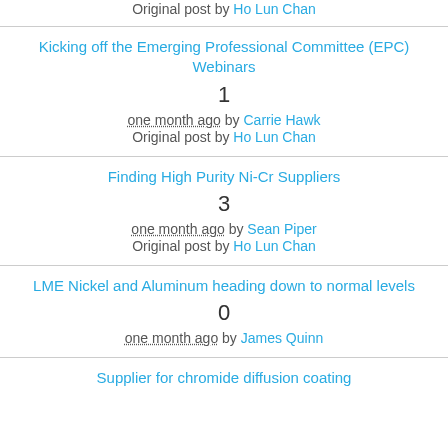Original post by Ho Lun Chan
Kicking off the Emerging Professional Committee (EPC) Webinars
1
one month ago by Carrie Hawk
Original post by Ho Lun Chan
Finding High Purity Ni-Cr Suppliers
3
one month ago by Sean Piper
Original post by Ho Lun Chan
LME Nickel and Aluminum heading down to normal levels
0
one month ago by James Quinn
Supplier for chromide diffusion coating